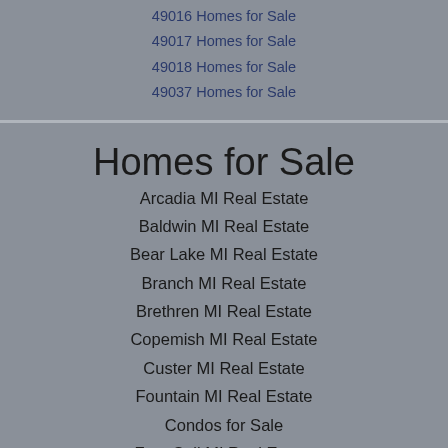49016 Homes for Sale
49017 Homes for Sale
49018 Homes for Sale
49037 Homes for Sale
Homes for Sale
Arcadia MI Real Estate
Baldwin MI Real Estate
Bear Lake MI Real Estate
Branch MI Real Estate
Brethren MI Real Estate
Copemish MI Real Estate
Custer MI Real Estate
Fountain MI Real Estate
Condos for Sale
Free Soil MI Real Estate
Hart MI Real Estate